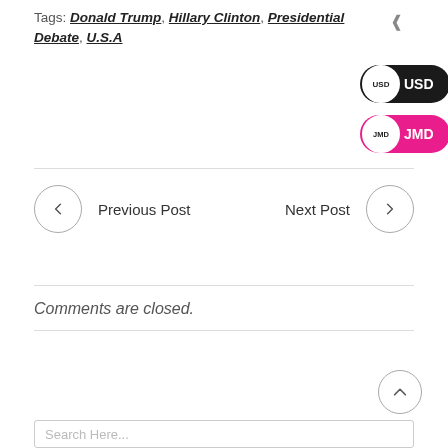Tags: Donald Trump, Hillary Clinton, Presidential Debate, U.S.A
[Figure (other): USD currency toggle button (dark background with white circle)]
[Figure (other): JMD currency toggle button (pink/magenta background with white circle)]
< Previous Post
Next Post >
Comments are closed.
[Figure (other): Upward arrow circle button]
Search Here...